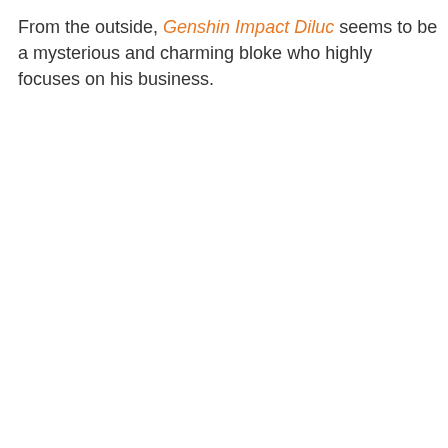From the outside, Genshin Impact Diluc seems to be a mysterious and charming bloke who highly focuses on his business.